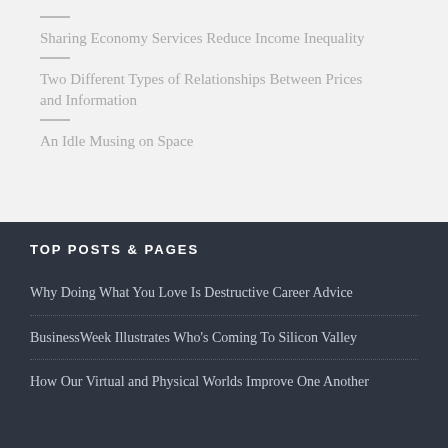Sharing Economy Services Reduce Income Inequality
Two Different Types of Relationships Between Prices and Information
An Idle Musing on Space
TOP POSTS & PAGES
Why Doing What You Love Is Destructive Career Advice
BusinessWeek Illustrates Who's Coming To Silicon Valley
How Our Virtual and Physical Worlds Improve One Another